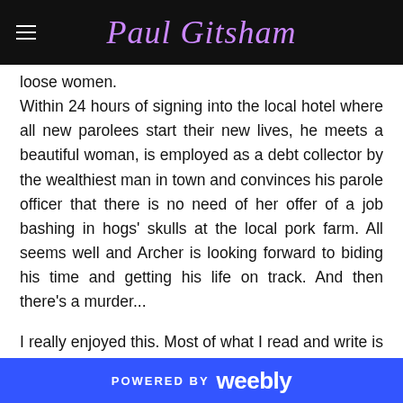Paul Gitsham
loose women.
Within 24 hours of signing into the local hotel where all new parolees start their new lives, he meets a beautiful woman, is employed as a debt collector by the wealthiest man in town and convinces his parole officer that there is no need of her offer of a job bashing in hogs' skulls at the local pork farm. All seems well and Archer is looking forward to biding his time and getting his life on track. And then there's a murder...
I really enjoyed this. Most of what I read and write is contemporary, so this was a refreshing change. I'm in no position to express an opinion on how accurate the details are, but it certainly feels authentic and Baldacci has clearly spent time researching the time period. The dialogue is snappy and reminiscent of the various movies of the time that
POWERED BY weebly